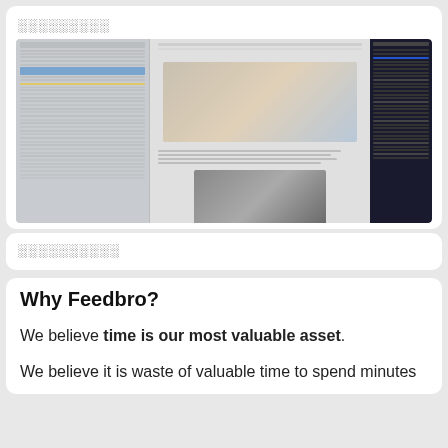░░░░░░░░░
[Figure (screenshot): Screenshot of an email client (left panel with folder list and email list) showing a blog article with two photos of people in business meetings, alongside a dark-themed browser/app panel on the right.]
░░░░░░░░░░
Why Feedbro?
We believe time is our most valuable asset.
We believe it is waste of valuable time to spend minutes